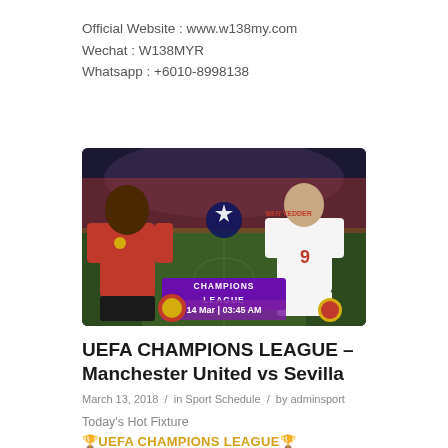Official Website : www.w138my.com
Wechat : W138MYR
Whatsapp : +6010-8998138
[Figure (photo): Champions League match banner showing Manchester United player in red jersey on the left and Sevilla player (Ben Yedder, #9) on the right, with UEFA Champions League logo in the center and text '14 Mar | 03:45 AM']
UEFA CHAMPIONS LEAGUE – Manchester United vs Sevilla
March 13, 2018  /  in Sport Schedule  /  by adminsport
Today's Hot Fixture
🏆UEFA CHAMPIONS LEAGUE🏆